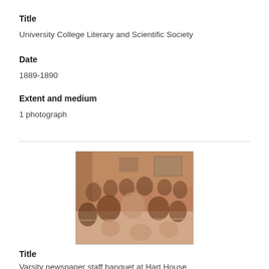Title
University College Literary and Scientific Society
Date
1889-1890
Extent and medium
1 photograph
[Figure (photo): Sepia-toned photograph of a group of people seated at a banquet table, with paintings on the wall behind them.]
Title
Varsity newspaper staff banquet at Hart House